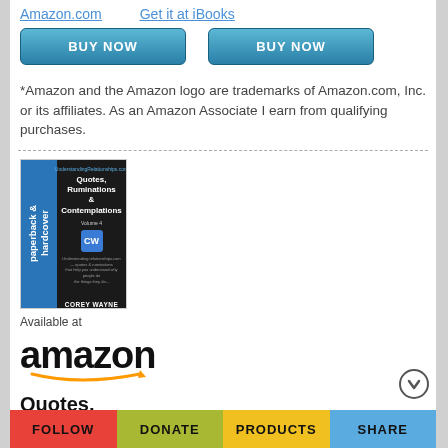Amazon.com
Get it at iBooks
BUY NOW
BUY NOW
*Amazon and the Amazon logo are trademarks of Amazon.com, Inc. or its affiliates. As an Amazon Associate I earn from qualifying purchases.
[Figure (photo): Book cover for Quotes, Ruminations & Contemplations by Corey Wayne, showing blue spine with text 'paperback & hardcover' and dark cover with title text]
Available at
[Figure (logo): Amazon logo with smile arrow]
Quotes, Ruminations & Contemplations Paperback | $4999
FOLLOW   DONATE   PRODUCTS   SHARE